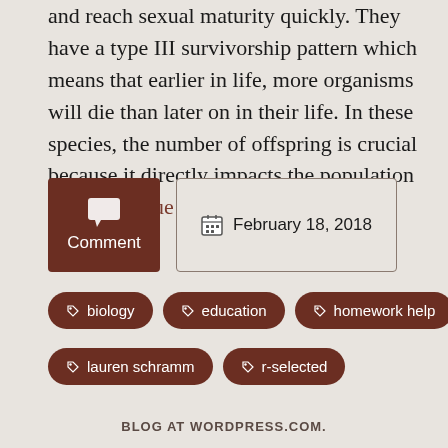and reach sexual maturity quickly. They have a type III survivorship pattern which means that earlier in life, more organisms will die than later on in their life. In these species, the number of offspring is crucial because it directly impacts the population size. Continue reading →
Comment
February 18, 2018
biology
education
homework help
k-selected
lauren schramm
r-selected
BLOG AT WORDPRESS.COM.